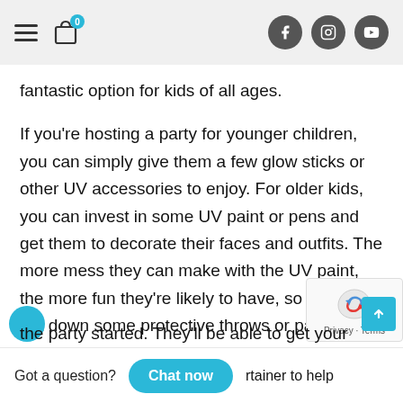Navigation bar with hamburger menu, cart icon (0), Facebook, Instagram, YouTube icons
fantastic option for kids of all ages.
If you're hosting a party for younger children, you can simply give them a few glow sticks or other UV accessories to enjoy. For older kids, you can invest in some UV paint or pens and get them to decorate their faces and outfits. The more mess they can make with the UV paint, the more fun they're likely to have, so why not put down some protective throws or paper and let your guests really go to town.
rtainer to help the party started. They'll be able to get your